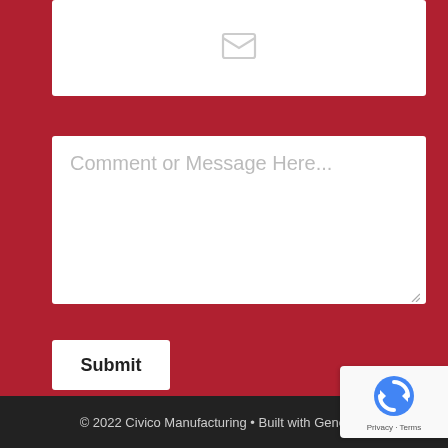[Figure (screenshot): Email input field (partial, top) with envelope icon and placeholder]
[Figure (screenshot): Comment or Message textarea input field with placeholder text]
Comment or Message Here...
Submit
© 2022 Civico Manufacturing • Built with Generate
[Figure (logo): reCAPTCHA badge with Google reCAPTCHA logo and Privacy · Terms text]